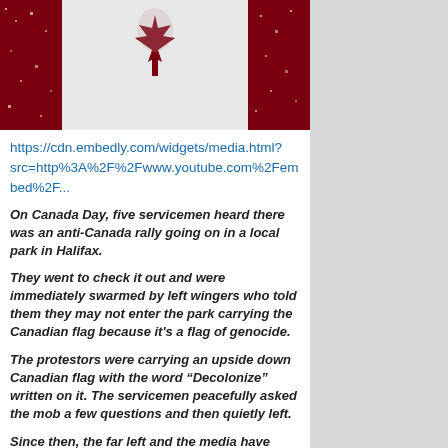[Figure (photo): Canadian flag image with dark red maple leaf and snowy/textured red side bars, with a faint face visible in the center]
https://cdn.embedly.com/widgets/media.html?src=http%3A%2F%2Fwww.youtube.com%2Fembed%2F...
On Canada Day, five servicemen heard there was an anti-Canada rally going on in a local park in Halifax.
They went to check it out and were immediately swarmed by left wingers who told them they may not enter the park carrying the Canadian flag because it's a flag of genocide.
The protestors were carrying an upside down Canadian flag with the word “Decolonize” written on it. The servicemen peacefully asked the mob a few questions and then quietly left.
Since then, the far left and the media have turned this innocuous story into a case of “Nazis” disrupting an Indigenous religious ceremony.